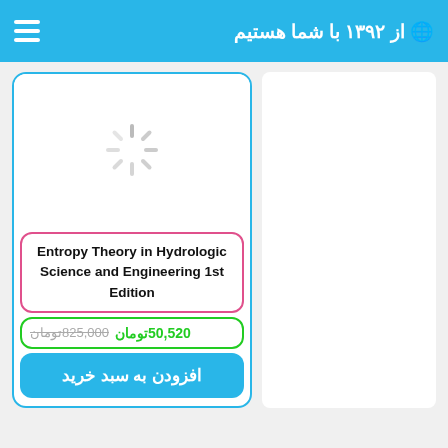از ۱۳۹۲ با شما هستیم 🌐
[Figure (illustration): Loading spinner icon (animated-style sun/wheel spinner in gray)]
Entropy Theory in Hydrologic Science and Engineering 1st Edition
825,000 تومان 50,520 تومان
افزودن به سبد خرید